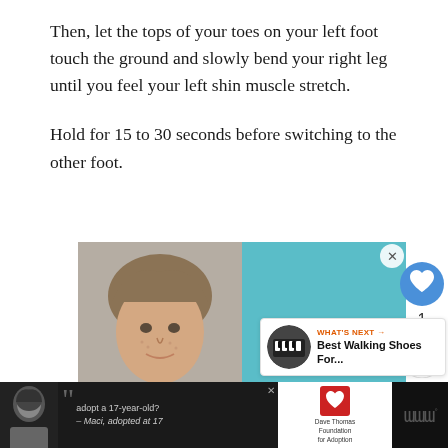Then, let the tops of your toes on your left foot touch the ground and slowly bend your right leg until you feel your left shin muscle stretch.
Hold for 15 to 30 seconds before switching to the other foot.
[Figure (photo): Advertisement banner showing a young boy's face on the left half and a teal/cyan background on the right half, with a close button (X) in the top right corner.]
[Figure (infographic): Right sidebar with a blue circular heart/like button, the number 1, and a share button icon.]
[Figure (infographic): WHAT'S NEXT panel with a circular thumbnail image and text: Best Walking Shoes For...]
[Figure (infographic): Bottom advertisement bar featuring a girl's photo, large quotation marks, text 'adopt a 17-year-old? - Maci, adopted at 17', the Dave Thomas Foundation for Adoption logo, and a W logo on the right.]